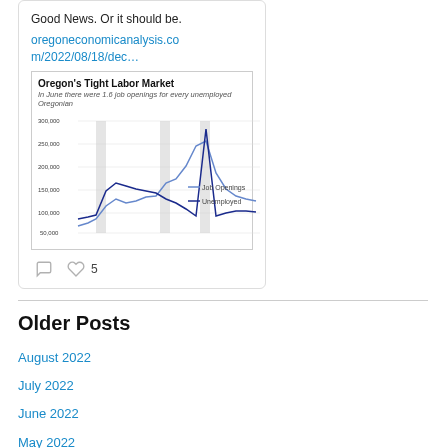Good News. Or it should be.
oregoneconomicanalysis.com/2022/08/18/dec…
[Figure (line-chart): Line chart showing Job Openings and Unemployed counts in Oregon over time, with y-axis from 50,000 to 300,000]
5
Older Posts
August 2022
July 2022
June 2022
May 2022
April 2022
March 2022